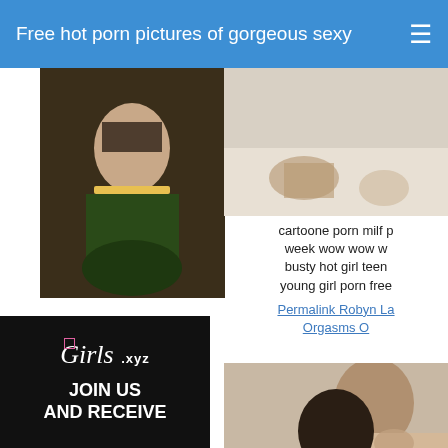Free hot porn pictures of gorgeous sexy
[Figure (photo): Advertisement image with a figure in green outfit with PLAY NOW button]
[Figure (photo): Girls.xyz advertisement banner - JOIN US AND RECEIVE]
[Figure (photo): Partial image of hand on white surface]
cartoone porn milf p week wow wow w busty hot girl teen young girl porn free
Permalink Robyn La Orgasms O
[Figure (photo): Young woman portrait photo]